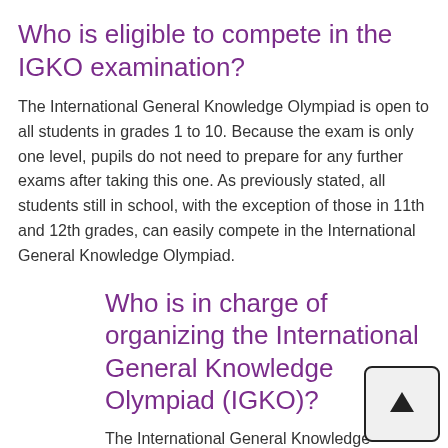Who is eligible to compete in the IGKO examination?
The International General Knowledge Olympiad is open to all students in grades 1 to 10. Because the exam is only one level, pupils do not need to prepare for any further exams after taking this one. As previously stated, all students still in school, with the exception of those in 11th and 12th grades, can easily compete in the International General Knowledge Olympiad.
Who is in charge of organizing the International General Knowledge Olympiad (IGKO)?
The International General Knowledge Olympiad is organized by the Science Olympiad Foundation (SOF). The SOF is an educational organization that promotes academic competition among schoolchildren. For more than two decades, it has used a variety of fun-filled innovative activities to encourage knowledge outside of the classroom and toward scientific studies.